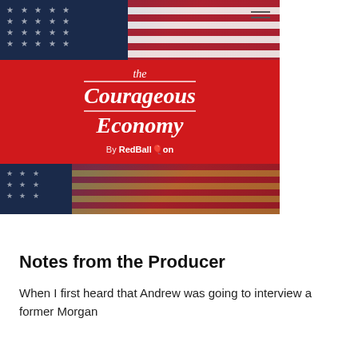[Figure (illustration): American flag background with red banner showing 'the Courageous Economy By RedBalloon' logo. Three horizontal sections: top flag band (stars and stripes), red center band with logo text, bottom flag band.]
Notes from the Producer
When I first heard that Andrew was going to interview a former Morgan